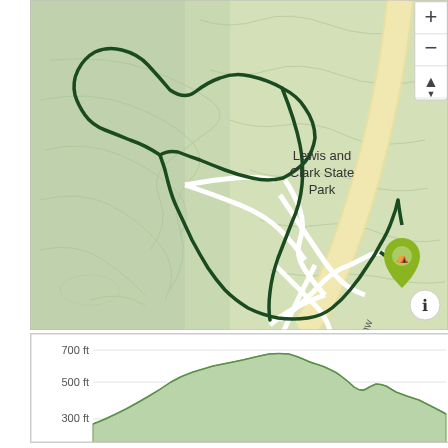[Figure (map): Topographic trail map of Lewis and Clark State Park showing a dark green trail route overlaid on a green topographic map with contour lines. Jackson Highway is labeled diagonally. White roads are visible. A green location pin marker is shown at the trailhead. Map controls (zoom in, zoom out, compass) are in the upper right corner. An info button is in the lower right.]
[Figure (area-chart): Elevation profile chart showing trail elevation in feet. Y-axis labels: 700 ft, 500 ft, 300 ft. The profile shows a green shaded area representing elevation changes along the trail route, starting low, rising to peaks around 700 ft in the middle, and tapering at the ends.]